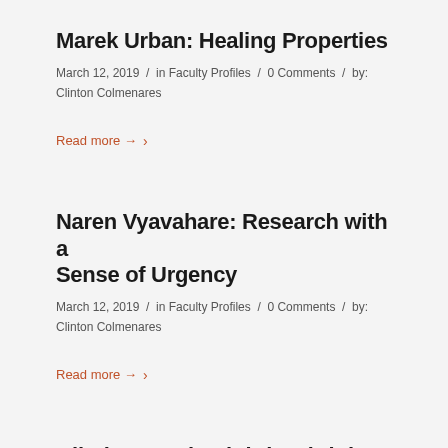Marek Urban: Healing Properties
March 12, 2019 / in Faculty Profiles / 0 Comments / by: Clinton Colmenares
Read more →  >
Naren Vyavahare: Research with a Sense of Urgency
March 12, 2019 / in Faculty Profiles / 0 Comments / by: Clinton Colmenares
Read more →  >
Dil Thomas: is Fighting (High...